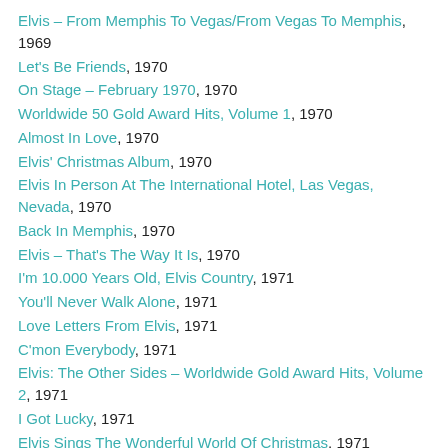Elvis – From Memphis To Vegas/From Vegas To Memphis, 1969
Let's Be Friends, 1970
On Stage – February 1970, 1970
Worldwide 50 Gold Award Hits, Volume 1, 1970
Almost In Love, 1970
Elvis' Christmas Album, 1970
Elvis In Person At The International Hotel, Las Vegas, Nevada, 1970
Back In Memphis, 1970
Elvis – That's The Way It Is, 1970
I'm 10.000 Years Old, Elvis Country, 1971
You'll Never Walk Alone, 1971
Love Letters From Elvis, 1971
C'mon Everybody, 1971
Elvis: The Other Sides – Worldwide Gold Award Hits, Volume 2, 1971
I Got Lucky, 1971
Elvis Sings The Wonderful World Of Christmas, 1971